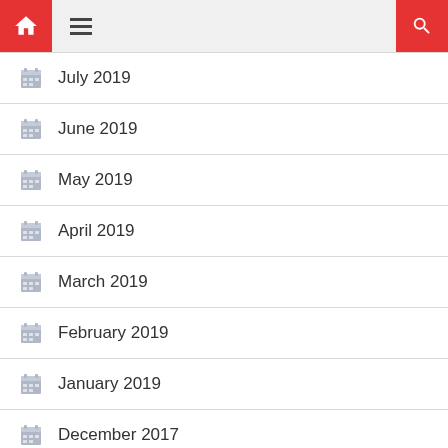Navigation bar with home and search icons
July 2019
June 2019
May 2019
April 2019
March 2019
February 2019
January 2019
December 2017
July 2014